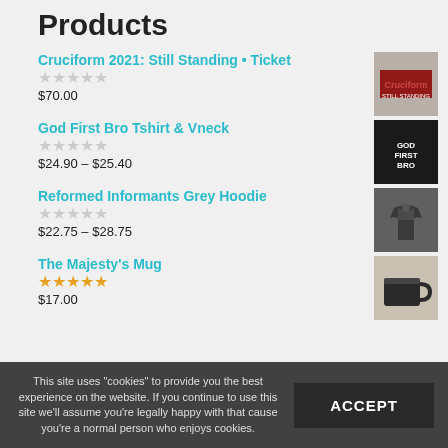Products
Cruciform 2021: Still Standing • Ticket
★★★★★ (no rating)
$70.00
God First Bro Tshirt & Vneck
★★★★★ (no rating)
$24.90 – $25.40
Reformed Informants Grey Hoodie
★★★★★ (no rating)
$22.75 – $28.75
The Majesty's Mug
★★★★★ (5 stars)
$17.00
This site uses "cookies" to provide you the best experience on the website. If you continue to use this site we'll assume you're legally happy with that cause you're a normal person who enjoys cookies.